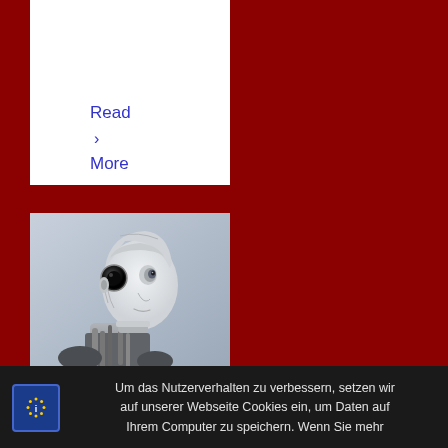Read › More
[Figure (photo): A humanoid robot head and neck, metallic and detailed, photographed against a light grey-blue background, looking slightly to the right.]
Um das Nutzerverhalten zu verbessern, setzen wir auf unserer Webseite Cookies ein, um Daten auf Ihrem Computer zu speichern. Wenn Sie mehr